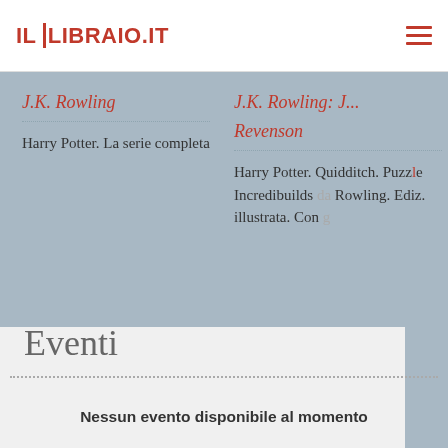IL LIBRAIO.IT
J.K. Rowling
Harry Potter. La serie completa
J.K. Rowling: J... Revenson
Harry Potter. Quidditch. Puzzle Incredibuilds da Rowling. Ediz. illustrata. Con g...
Eventi
Nessun evento disponibile al momento